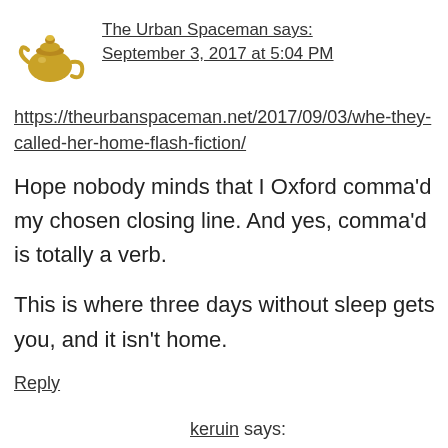[Figure (illustration): Golden teapot avatar icon for The Urban Spaceman commenter]
The Urban Spaceman says:
September 3, 2017 at 5:04 PM
https://theurbanspaceman.net/2017/09/03/whe-they-called-her-home-flash-fiction/
Hope nobody minds that I Oxford comma'd my chosen closing line. And yes, comma'd is totally a verb.
This is where three days without sleep gets you, and it isn't home.
Reply
keruin says: